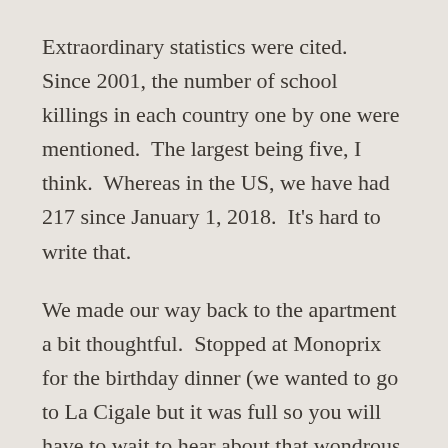Extraordinary statistics were cited.  Since 2001, the number of school killings in each country one by one were mentioned.  The largest being five, I think.  Whereas in the US, we have had 217 since January 1, 2018.  It's hard to write that.
We made our way back to the apartment a bit thoughtful.  Stopped at Monoprix for the birthday dinner (we wanted to go to La Cigale but it was full so you will have to wait to hear about that wondrous place till